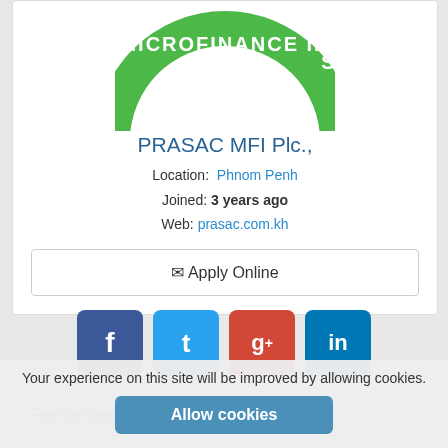[Figure (logo): Partial green circular logo with white text reading MICROFINANCE INS (institution), cropped at top]
PRASAC MFI Plc.,
Location: Phnom Penh
Joined: 3 years ago
Web: prasac.com.kh
✉ Apply Online
[Figure (infographic): Four social media share buttons: Facebook (f), Twitter (t), Google+ (g+), LinkedIn (in)]
Tips for candidates
Your experience on this site will be improved by allowing cookies.
Allow cookies